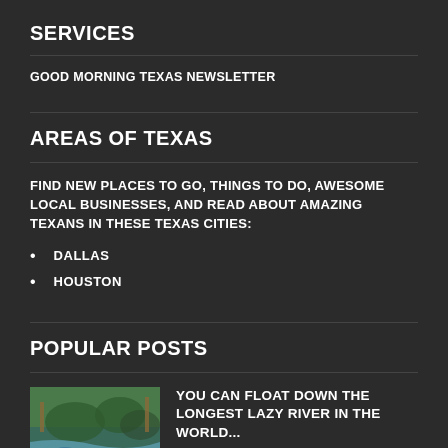SERVICES
GOOD MORNING TEXAS NEWSLETTER
AREAS OF TEXAS
FIND NEW PLACES TO GO, THINGS TO DO, AWESOME LOCAL BUSINESSES, AND READ ABOUT AMAZING TEXANS IN THESE TEXAS CITIES:
DALLAS
HOUSTON
POPULAR POSTS
[Figure (photo): Aerial or ground-level view of people floating down a lazy river surrounded by trees and blue water]
YOU CAN FLOAT DOWN THE LONGEST LAZY RIVER IN THE WORLD...
June 5, 2022